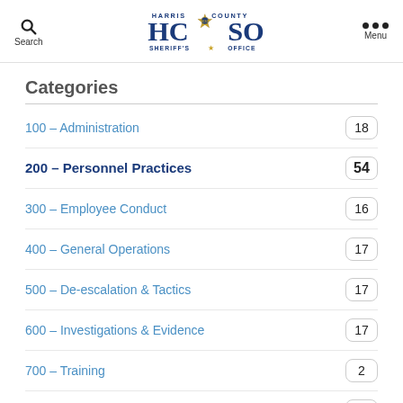[Figure (logo): Harris County Sheriff's Office (HCSO) logo with badge]
Categories
100 – Administration  18
200 – Personnel Practices  54
300 – Employee Conduct  16
400 – General Operations  17
500 – De-escalation & Tactics  17
600 – Investigations & Evidence  17
700 – Training  2
800 – Vehicle Operations  4